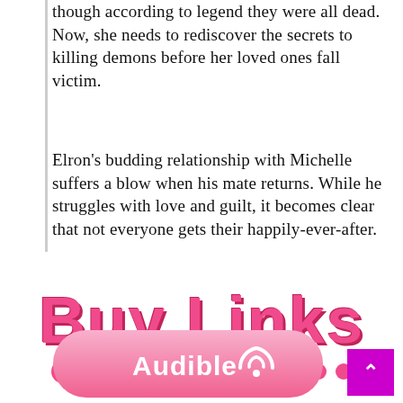though according to legend they were all dead. Now, she needs to rediscover the secrets to killing demons before her loved ones fall victim.
Elron's budding relationship with Michelle suffers a blow when his mate returns. While he struggles with love and guilt, it becomes clear that not everyone gets their happily-ever-after.
Buy Links
[Figure (screenshot): Audible button with WiFi-like icon, pink gradient rounded rectangle]
[Figure (other): Scroll to top button, magenta square with upward chevron]